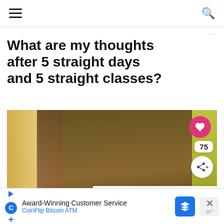≡  🔍
What are my thoughts after 5 straight days and 5 straight classes?
[Figure (photo): A woman with long braided hair wearing a white tank top, leaning over exercise equipment (appears to be a stationary bike), with a yellow-green wall and patterned curtains in the background. UI overlays include a pink heart button (75 likes), a share button, and a 'What's Next → Weekly Wednesday...' panel in the bottom-right corner.]
Award-Winning Customer Service CoinFlip Bitcoin ATM